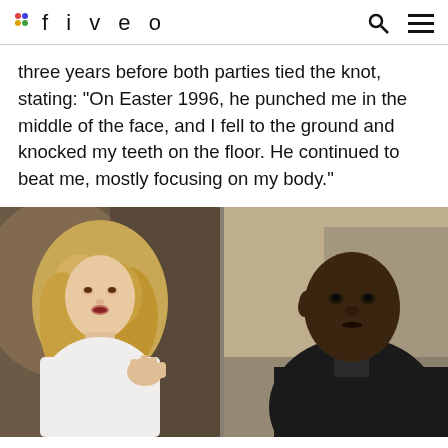fiveo
three years before both parties tied the knot, stating: "On Easter 1996, he punched me in the middle of the face, and I fell to the ground and knocked my teeth on the floor. He continued to beat me, mostly focusing on my body."
[Figure (photo): Two side-by-side courtroom photos: left shows a woman with long curly blonde hair in a white jacket gesturing with her hand while speaking; right shows a man in a dark suit looking sideways.]